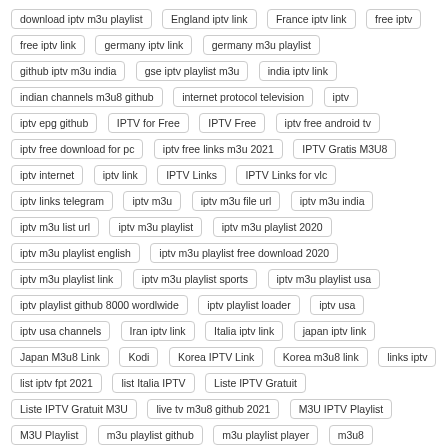download iptv m3u playlist
England iptv link
France iptv link
free iptv
free iptv link
germany iptv link
germany m3u playlist
github iptv m3u india
gse iptv playlist m3u
india iptv link
indian channels m3u8 github
internet protocol television
iptv
iptv epg github
IPTV for Free
IPTV Free
iptv free android tv
iptv free download for pc
iptv free links m3u 2021
IPTV Gratis M3U8
iptv internet
iptv link
IPTV Links
IPTV Links for vlc
iptv links telegram
iptv m3u
iptv m3u file url
iptv m3u india
iptv m3u list url
iptv m3u playlist
iptv m3u playlist 2020
iptv m3u playlist english
iptv m3u playlist free download 2020
iptv m3u playlist link
iptv m3u playlist sports
iptv m3u playlist usa
iptv playlist github 8000 wordlwide
iptv playlist loader
iptv usa
iptv usa channels
Iran iptv link
Italia iptv link
japan iptv link
Japan M3u8 Link
Kodi
Korea IPTV Link
Korea m3u8 link
links iptv
list iptv fpt 2021
list Italia IPTV
Liste IPTV Gratuit
Liste IPTV Gratuit M3U
live tv m3u8 github 2021
M3U IPTV Playlist
M3U Playlist
m3u playlist github
m3u playlist player
m3u8